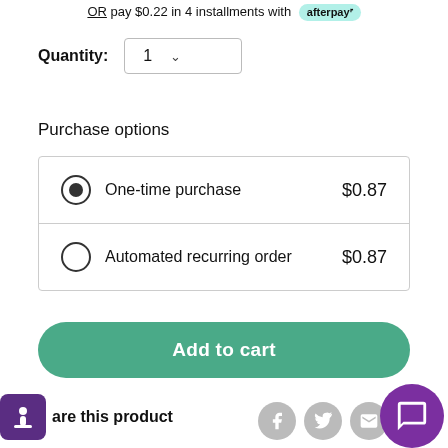OR pay $0.22 in 4 installments with afterpay
Quantity: 1
Purchase options
One-time purchase $0.87
Automated recurring order $0.87
Add to cart
are this product